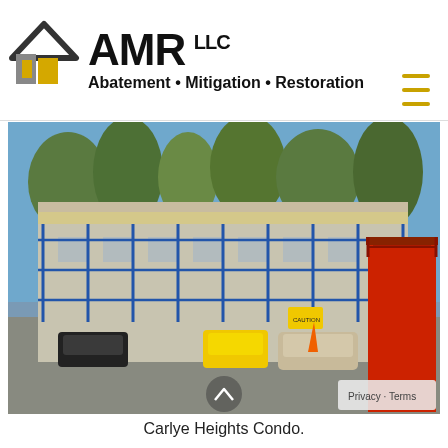[Figure (logo): AMR LLC logo with house icon in black and gold, text: AMR LLC Abatement • Mitigation • Restoration]
[Figure (photo): Construction site photo showing a multi-story residential building (Carlye Heights Condo) covered in scaffolding, with workers, a yellow taxi, a beige sedan, a red scissor lift, and caution signs in a parking lot. Trees visible in background against blue sky.]
Carlye Heights Condo.